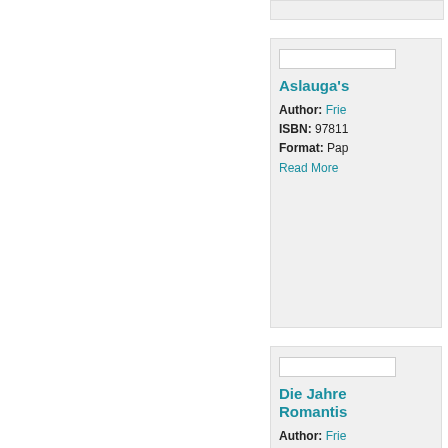[partial card strip at top]
Aslauga's
Author: Frie
ISBN: 97811
Format: Pap
Read More
Die Jahre Romantis
Author: Frie
ISBN: 97811
Format: Pap
Read More
Aslauga's
Author: Frie
ISBN: 97813
Format: Pa